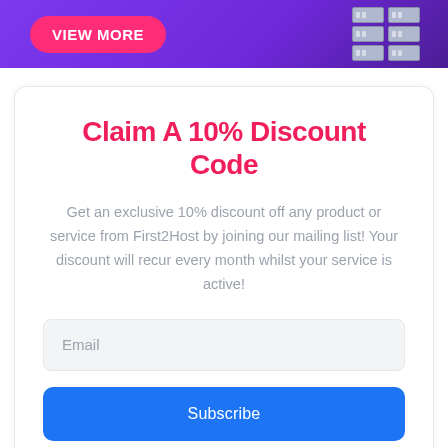[Figure (illustration): Purple gradient banner with a pink 'VIEW MORE' button and server rack graphic on the right]
Claim A 10% Discount Code
Get an exclusive 10% discount off any product or service from First2Host by joining our mailing list! Your discount will recur every month whilst your service is active!
Email
Subscribe